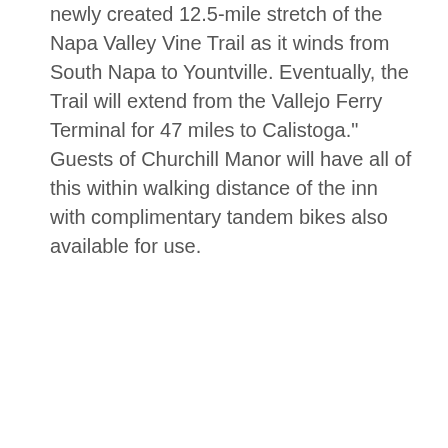newly created 12.5-mile stretch of the Napa Valley Vine Trail as it winds from South Napa to Yountville. Eventually, the Trail will extend from the Vallejo Ferry Terminal for 47 miles to Calistoga." Guests of Churchill Manor will have all of this within walking distance of the inn with complimentary tandem bikes also available for use.